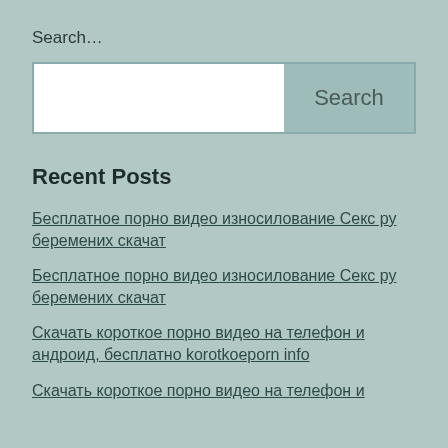Search…
[Figure (other): Search input field with Search button]
Recent Posts
Бесплатное порно видео износилование Секс ру беремених скачат
Бесплатное порно видео износилование Секс ру беремених скачат
Скачать короткое порно видео на телефон и андроид, бесплатно korotkoeporn info
Скачать короткое порно видео на телефон и